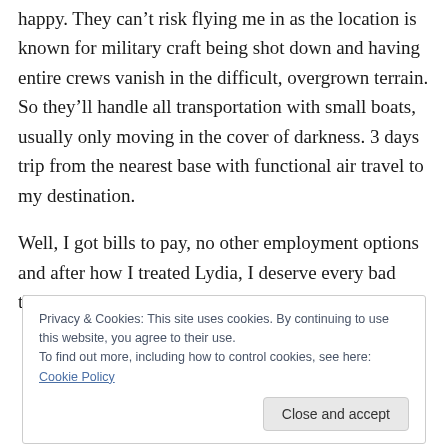happy. They can't risk flying me in as the location is known for military craft being shot down and having entire crews vanish in the difficult, overgrown terrain. So they'll handle all transportation with small boats, usually only moving in the cover of darkness. 3 days trip from the nearest base with functional air travel to my destination.
Well, I got bills to pay, no other employment options and after how I treated Lydia, I deserve every bad thing that is coming my way.
Privacy & Cookies: This site uses cookies. By continuing to use this website, you agree to their use.
To find out more, including how to control cookies, see here: Cookie Policy
Close and accept